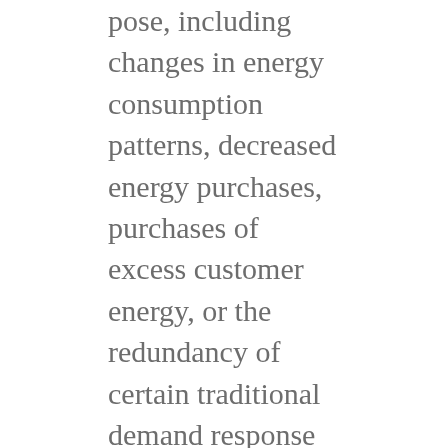pose, including changes in energy consumption patterns, decreased energy purchases, purchases of excess customer energy, or the redundancy of certain traditional demand response (DR) programs. One significant benefit of retail batteries is the potential for the batteries to be deployed as a DR measure; by charging a battery during off-peak hours and discharging during on-peak hours a utility can easily shift costs from higher on-peak periods to lower off-peak periods. These savings can be achieved without inconveniencing residential customers, such as shutting off their AC systems, can easily increase the amount of load control available to a utility. When combined with rooftop solar, a retail battery will allow a customer to store solar power for use during peak periods, reducing consumption from the utility and